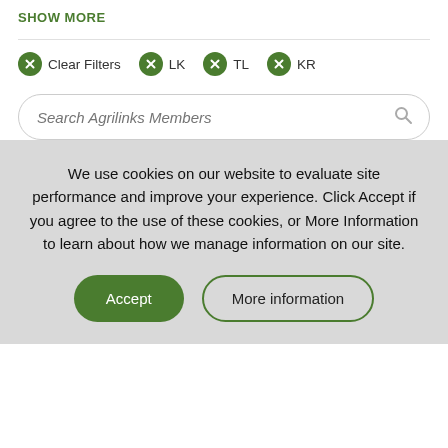SHOW MORE
Clear Filters
LK
TL
KR
Search Agrilinks Members
We use cookies on our website to evaluate site performance and improve your experience. Click Accept if you agree to the use of these cookies, or More Information to learn about how we manage information on our site.
Accept
More information